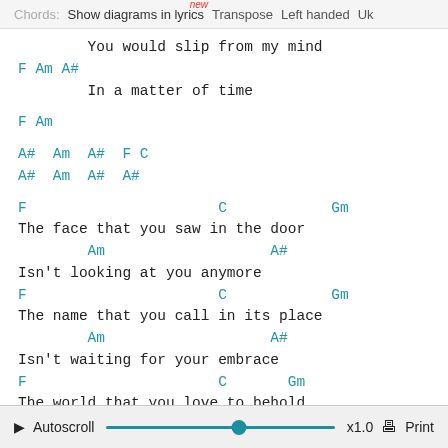Chords: Show diagrams in lyrics new  Transpose  Left handed  Uk
You would slip from my mind
F Am A#
In a matter of time
F Am
A#  Am  A#  F C
A#  Am  A#  A#
F                      C            Gm
The face that you saw in the door
        Am                   A#
Isn't looking at you anymore
F                      C            Gm
The name that you call in its place
        Am                   A#
Isn't waiting for your embrace
F                      C       Gm
The world that you love to behold
        Am              A#
▶ Autoscroll  x1.0  Print